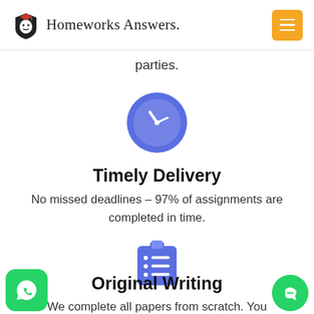Homeworks Answers.
parties.
[Figure (illustration): Blue circle icon with a white clock face showing hands pointing to approximately 10:10]
Timely Delivery
No missed deadlines – 97% of assignments are completed in time.
[Figure (illustration): Blue clipboard icon with bullet list lines]
Original Writing
We complete all papers from scratch. You